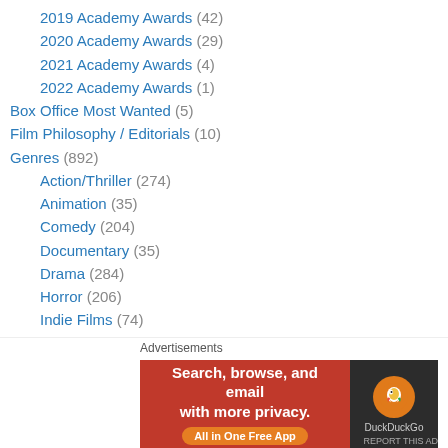2019 Academy Awards (42)
2020 Academy Awards (29)
2021 Academy Awards (4)
2022 Academy Awards (1)
Box Office Most Wanted (5)
Film Philosophy / Editorials (10)
Genres (892)
Action/Thriller (274)
Animation (35)
Comedy (204)
Documentary (35)
Drama (284)
Horror (206)
Indie Films (74)
musical (10)
Romance (37)
[Figure (screenshot): DuckDuckGo advertisement banner with text 'Search, browse, and email with more privacy. All in One Free App' on orange-red background and DuckDuckGo logo on dark background]